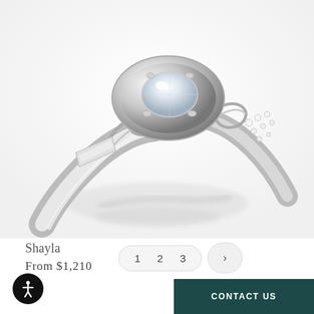[Figure (photo): Close-up product photo of a white gold diamond engagement ring called Shayla, showing intricate swirl metalwork and pave diamond accents, viewed from front-side angle against a white background.]
Shayla
From $1,210
1  2  3  >
CONTACT US